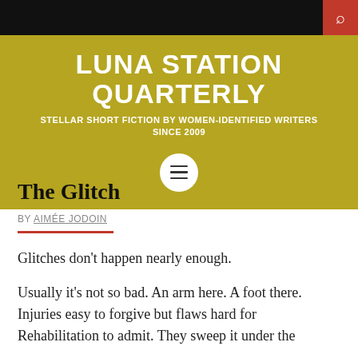LUNA STATION QUARTERLY — STELLAR SHORT FICTION BY WOMEN-IDENTIFIED WRITERS SINCE 2009
The Glitch
BY AIMÉE JODOIN
Glitches don't happen nearly enough.
Usually it's not so bad. An arm here. A foot there. Injuries easy to forgive but flaws hard for Rehabilitation to admit. They sweep it under the